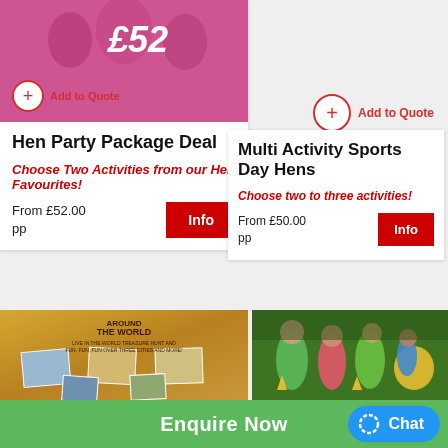[Figure (photo): Hen party photo with women celebrating, price overlay £52, PACK badge in corner, Add to Quote button]
Hen Party Package Deal
Choose Two Activities from our Hen Favourites!
From £52.00 pp
Add to Quote
Multi Activity Sports Day Hens
Choose two to three activities!
From £50.00 pp
[Figure (photo): Around the World themed image with travel photos and map]
[Figure (photo): Outdoor sports activity with people in colourful costumes doing sack race]
Enquire Now
Chat